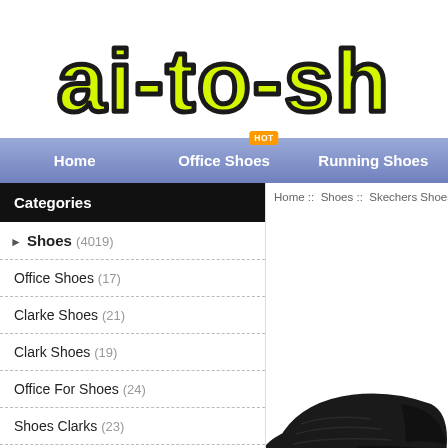[Figure (logo): ai-to-sh logo in yellow bubble letters with black outline]
Home | Office Shoes HOT | Running Shoes
Home :: Shoes :: Skechers Shoes :: skeche...
Categories
Shoes (4019)
Office Shoes (17)
Clarke Shoes (21)
Clark Shoes (19)
Office For Shoes (24)
Shoes Clarks (23)
Shoes Office (27)
Shoes From Clarks (29)
[Figure (photo): Black Skechers slip-on sneaker shoe on white background]